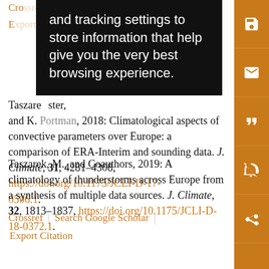[Figure (screenshot): Black popup overlay with white text reading: 'and tracking settings to store information that help give you the very best browsing experience.']
Taszarek, M., and Coauthors, 2018: Climatological aspects of convective parameters over Europe: a comparison of ERA-Interim and sounding data. J. Climate, 31, 4281–4308, https://doi.org/10.1175/JCLI-D-17-0596.1.
Crossref | Search Google Scholar
Export Citation
Taszarek, M., and Coauthors, 2019: A climatology of thunderstorms across Europe from a synthesis of multiple data sources. J. Climate, 32, 1813–1837, https://doi.org/10.1175/JCLI-D-18-0372.1.